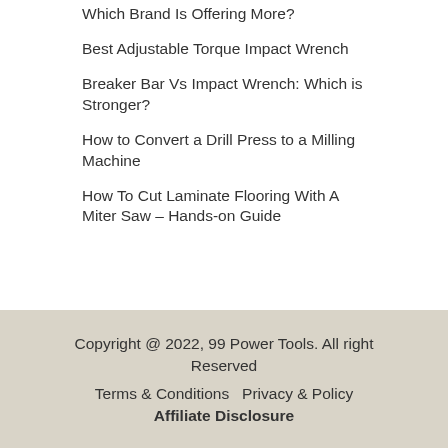Which Brand Is Offering More?
Best Adjustable Torque Impact Wrench
Breaker Bar Vs Impact Wrench: Which is Stronger?
How to Convert a Drill Press to a Milling Machine
How To Cut Laminate Flooring With A Miter Saw – Hands-on Guide
Copyright @ 2022, 99 Power Tools. All right Reserved
Terms & Conditions  Privacy & Policy
Affiliate Disclosure